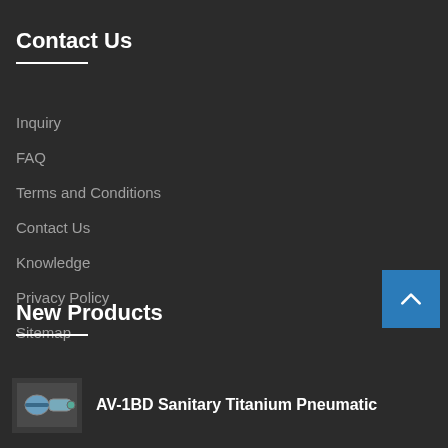Contact Us
Inquiry
FAQ
Terms and Conditions
Contact Us
Knowledge
Privacy Policy
Sitemap
New Products
[Figure (photo): Product thumbnail image for AV-1BD Sanitary Titanium Pneumatic]
AV-1BD Sanitary Titanium Pneumatic